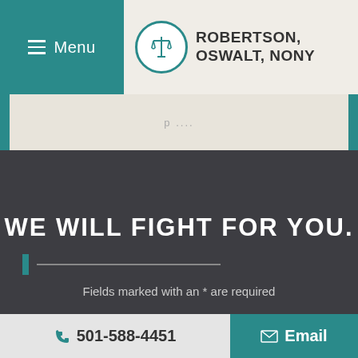[Figure (logo): Robertson, Oswalt, Nony law firm logo with scales of justice icon in teal circle, firm name in bold dark text]
Menu
WE WILL FIGHT FOR YOU.
Fields marked with an * are required
Name
501-588-4451  Email